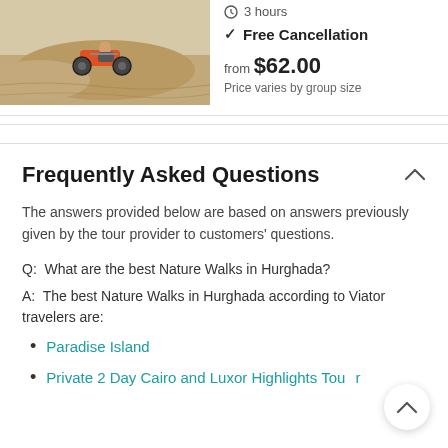[Figure (photo): Photo of a quad bike / ATV on sandy desert terrain]
3 hours
✓ Free Cancellation
from $62.00
Price varies by group size
Frequently Asked Questions
The answers provided below are based on answers previously given by the tour provider to customers' questions.
Q: What are the best Nature Walks in Hurghada?
A: The best Nature Walks in Hurghada according to Viator travelers are:
Paradise Island
Private 2 Day Cairo and Luxor Highlights Tour